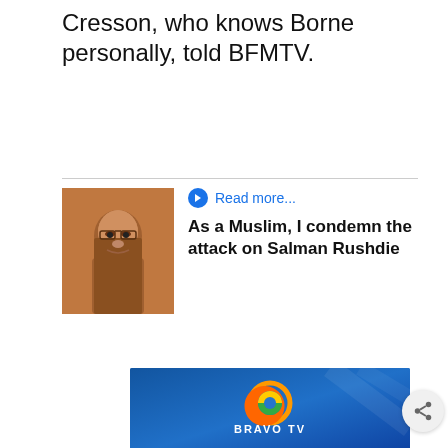Cresson, who knows Borne personally, told BFMTV.
[Figure (photo): Thumbnail photo of a man with glasses and beard, orange/brown toned]
Read more...
As a Muslim, I condemn the attack on Salman Rushdie
[Figure (illustration): Bravo TV advertisement banner with blue background and multicolored Bravo TV logo]
"She is a remarkable person, with great experience in the public and private sectors... She's a very good choice because she's a remarkable person, not because she's a woman," she added.